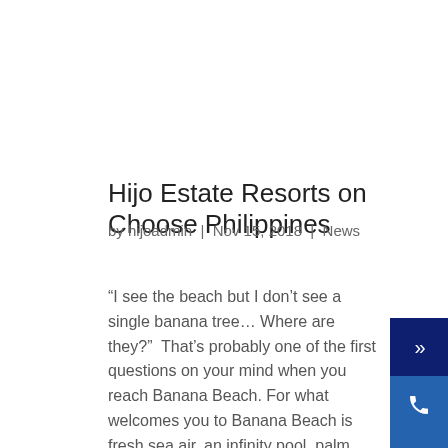Hijo Estate Resorts on Choose Philippines
by hijoadmin | Nov 15, 2018 | News
“I see the beach but I don’t see a single banana tree… Where are they?”  That’s probably one of the first questions on your mind when you reach Banana Beach. For what welcomes you to Banana Beach is fresh sea air, an infinity pool, palm fronds and tree leaves swaying…